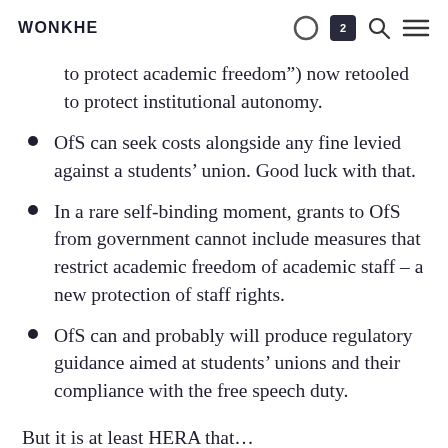WONKHE
to protect academic freedom”) now retooled to protect institutional autonomy.
OfS can seek costs alongside any fine levied against a students’ union. Good luck with that.
In a rare self-binding moment, grants to OfS from government cannot include measures that restrict academic freedom of academic staff – a new protection of staff rights.
OfS can and probably will produce regulatory guidance aimed at students’ unions and their compliance with the free speech duty.
But it is at least HERA that…